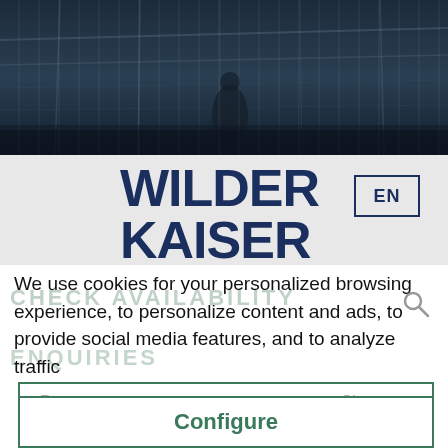[Figure (photo): Dark overhead photo of a building or mountain lodge exterior, used as a hero header image with deep blue-grey tones]
WILDER KAISER
EN
We use cookies for your personalized browsing experience, to personalize content and ads, to provide social media features, and to analyze traffic
CHECK AVAILABILITY
ENQUIRIES
Decline all
Room
Site map
Configure